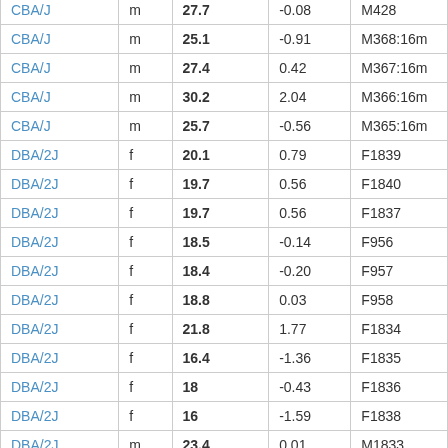| CBA/J | m | 25.1 | -0.91 | M368:16m |
| CBA/J | m | 27.4 | 0.42 | M367:16m |
| CBA/J | m | 30.2 | 2.04 | M366:16m |
| CBA/J | m | 25.7 | -0.56 | M365:16m |
| DBA/2J | f | 20.1 | 0.79 | F1839 |
| DBA/2J | f | 19.7 | 0.56 | F1840 |
| DBA/2J | f | 19.7 | 0.56 | F1837 |
| DBA/2J | f | 18.5 | -0.14 | F956 |
| DBA/2J | f | 18.4 | -0.20 | F957 |
| DBA/2J | f | 18.8 | 0.03 | F958 |
| DBA/2J | f | 21.8 | 1.77 | F1834 |
| DBA/2J | f | 16.4 | -1.36 | F1835 |
| DBA/2J | f | 18 | -0.43 | F1836 |
| DBA/2J | f | 16 | -1.59 | F1838 |
| DBA/2J | m | 23.4 | 0.01 | M1833 |